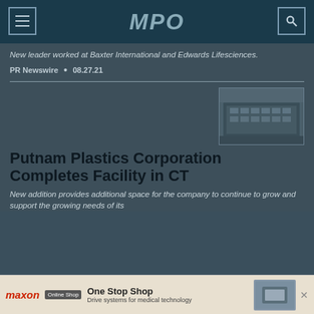MPO
New leader worked at Baxter International and Edwards Lifesciences.
PR Newswire • 08.27.21
[Figure (photo): Exterior photograph of a large commercial/industrial building, dark toned]
Putnam Plastics Corporation Completes Facility in CT
New addition provides additional space for the company to continue to grow and support the growing needs of its